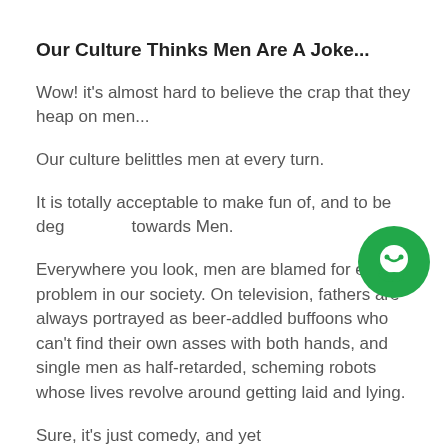Our Culture Thinks Men Are A Joke...
Wow! it's almost hard to believe the crap that they heap on men...
Our culture belittles men at every turn.
It is totally acceptable to make fun of, and to be deg... towards Men.
Everywhere you look, men are blamed for every problem in our society. On television, fathers are always portrayed as beer-addled buffoons who can't find their own asses with both hands, and single men as half-retarded, scheming robots whose lives revolve around getting laid and lying.
Sure, it's just comedy, and yet